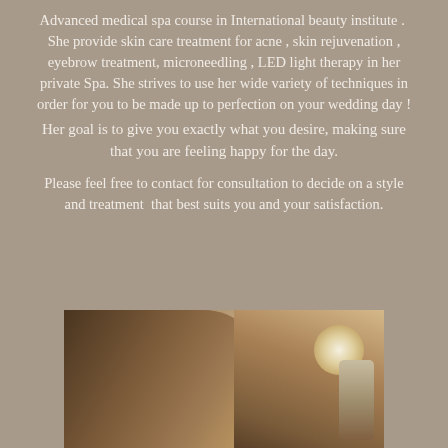Advanced medical spa course in International beauty institute .  She provide skin care treatment for acne , skin rejuvenation , eyebrow treatment, microneedling , LED light therapy in her private Spa. She strives to use her wide variety of techniques in order for you to be made up to perfection on your wedding day !
Her goal is to give you exactly what you desire, making sure that you are feeling happy for the day.
Please feel free to contact for consultation to decide on a style and treatment  that best suits you and your satisfaction.
[Figure (photo): Sepia-toned photo of a woman receiving a spa/LED light therapy treatment, lying down with a device being applied to her face]